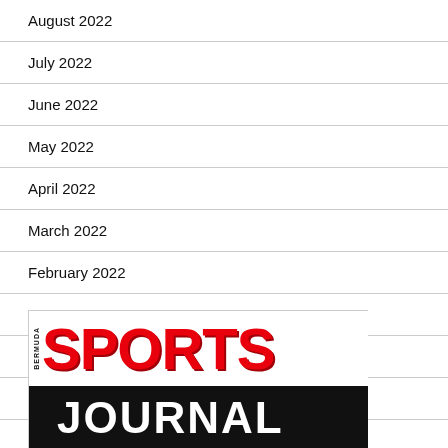August 2022
July 2022
June 2022
May 2022
April 2022
March 2022
February 2022
January 2022
December 2021
November 2021
[Figure (logo): Bermuda Sports Journal logo with red SPORTS text on white background and white JOURNAL text on black background]